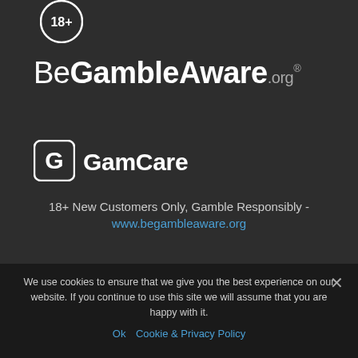[Figure (logo): 18+ age restriction badge — circle with '18+' text in white on dark background]
[Figure (logo): BeGambleAware.org logo in white text]
[Figure (logo): GamCare logo with G icon and GamCare text in white]
18+ New Customers Only, Gamble Responsibly - www.begambleaware.org
We use cookies to ensure that we give you the best experience on our website. If you continue to use this site we will assume that you are happy with it.
Ok   Cookie & Privacy Policy